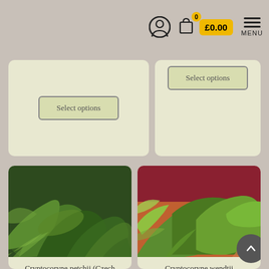£0.00 MENU
[Figure (screenshot): Top partial product card left: Select options button on beige card]
[Figure (screenshot): Top partial product card right: Select options button on beige card]
[Figure (photo): Aquatic plant Cryptocoryne petchii dark green leaves]
Cryptocoryne petchii (Czech Supplier)
£6.20
Aquatic Plants
[Figure (photo): Aquatic plant Cryptocoryne wendtii green and dark leaves]
Cryptocoryne wendtii
£3.08
Aquatic Plants